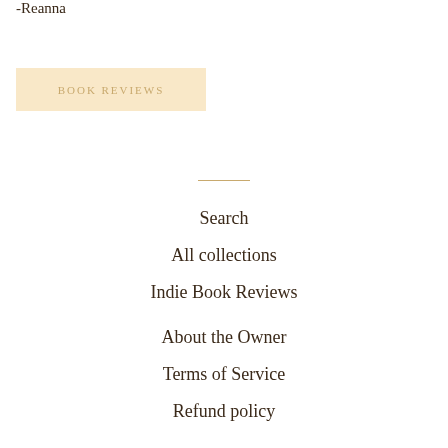-Reanna
BOOK REVIEWS
Search
All collections
Indie Book Reviews
About the Owner
Terms of Service
Refund policy